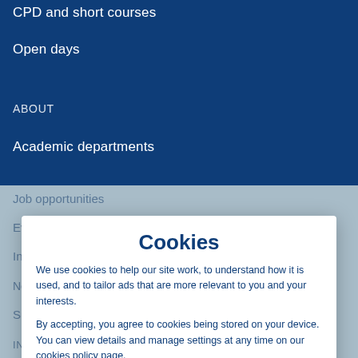CPD and short courses
Open days
ABOUT
Academic departments
Job opportunities
Events
In the community
News
Sustainability
INFORMATION FOR...
Cookies
We use cookies to help our site work, to understand how it is used, and to tailor ads that are more relevant to you and your interests.
By accepting, you agree to cookies being stored on your device. You can view details and manage settings at any time on our cookies policy page.
MANAGE SETTINGS
ACCEPT